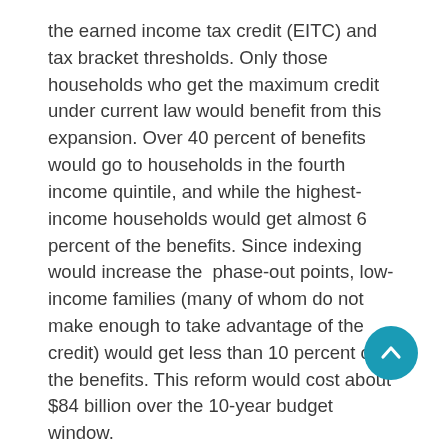the earned income tax credit (EITC) and tax bracket thresholds. Only those households who get the maximum credit under current law would benefit from this expansion. Over 40 percent of benefits would go to households in the fourth income quintile, and while the highest-income households would get almost 6 percent of the benefits. Since indexing would increase the phase-out points, low-income families (many of whom do not make enough to take advantage of the credit) would get less than 10 percent of the benefits. This reform would cost about $84 billion over the 10-year budget window.
Increase the phaseout threshold for married couples. Today, the CTC can create a marriage penalty because it begins phasing out for married couples at a level less than twice that of single